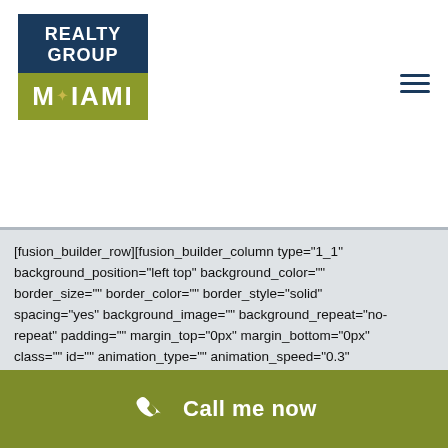[Figure (logo): Realty Group of Miami logo with dark blue top section and olive/gold bottom section showing MIAMI text]
[fusion_builder_row][fusion_builder_column type="1_1" background_position="left top" background_color="" border_size="" border_color="" border_style="solid" spacing="yes" background_image="" background_repeat="no-repeat" padding="" margin_top="0px" margin_bottom="0px" class="" id="" animation_type="" animation_speed="0.3" animation_direction="left" hide_on_mobile="no" center_content="no" min_height="none"][fusion_title size="2" content_align="left" style_type="underline dashed" sep_color="#333333" margin_top="20px" margin_bottom="" class="" id=""]Sayan Condo amenities[/fusion_title][/fusion_builder_column][fusion_builder_column type="1_3"
Call me now